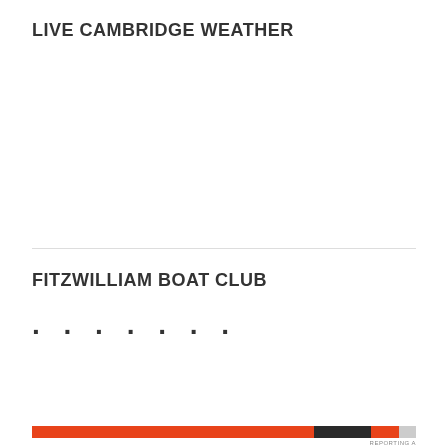LIVE CAMBRIDGE WEATHER
FITZWILLIAM BOAT CLUB
Privacy & Cookies: This site uses cookies. By continuing to use this website, you agree to their use.
To find out more, including how to control cookies, see here: Cookie Policy
Close and accept